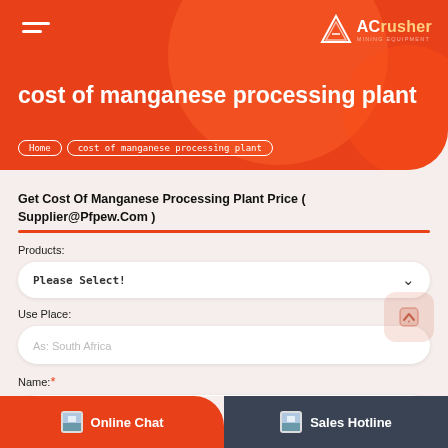ACrusher
cost of manganese processing plant
Home > cost of manganese processing plant
Get Cost Of Manganese Processing Plant Price ( Supplier@Pfpew.Com )
Products:
Please Select!
Use Place:
As: South Africa
Name:*
As: Maria
Online Chat
Sales Hotline